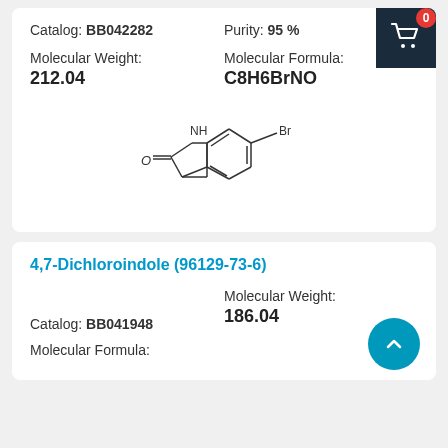Catalog: BB042282
Purity: 95 %
Molecular Weight: 212.04
Molecular Formula: C8H6BrNO
[Figure (schematic): Chemical structure of 5-Bromoisatin/5-Bromooxindole: a bicyclic indole derivative with NH group, C=O (ketone), and Br substituent on the benzene ring.]
4,7-Dichloroindole (96129-73-6)
Catalog: BB041948
Molecular Weight: 186.04
Molecular Formula: